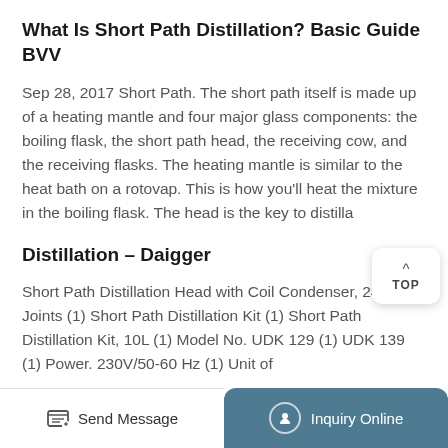What Is Short Path Distillation? Basic Guide BVV
Sep 28, 2017 Short Path. The short path itself is made up of a heating mantle and four major glass components: the boiling flask, the short path head, the receiving cow, and the receiving flasks. The heating mantle is similar to the heat bath on a rotovap. This is how you'll heat the mixture in the boiling flask. The head is the key to distilla
Distillation – Daigger
Short Path Distillation Head with Coil Condenser, 24/40 Joints (1) Short Path Distillation Kit (1) Short Path Distillation Kit, 10L (1) Model No. UDK 129 (1) UDK 139 (1) Power. 230V/50-60 Hz (1) Unit of